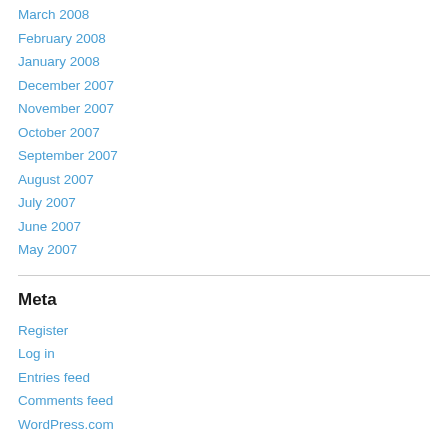March 2008
February 2008
January 2008
December 2007
November 2007
October 2007
September 2007
August 2007
July 2007
June 2007
May 2007
Meta
Register
Log in
Entries feed
Comments feed
WordPress.com